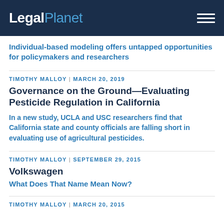LegalPlanet
Individual-based modeling offers untapped opportunities for policymakers and researchers
TIMOTHY MALLOY | MARCH 20, 2019
Governance on the Ground—Evaluating Pesticide Regulation in California
In a new study, UCLA and USC researchers find that California state and county officials are falling short in evaluating use of agricultural pesticides.
TIMOTHY MALLOY | SEPTEMBER 29, 2015
Volkswagen
What Does That Name Mean Now?
TIMOTHY MALLOY | MARCH 20, 2015